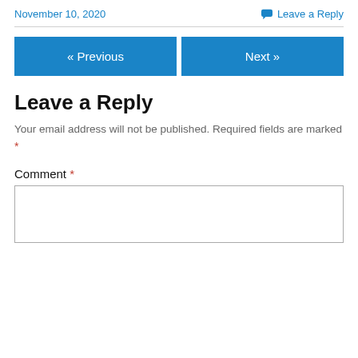November 10, 2020   Leave a Reply
Leave a Reply
Your email address will not be published. Required fields are marked *
Comment *